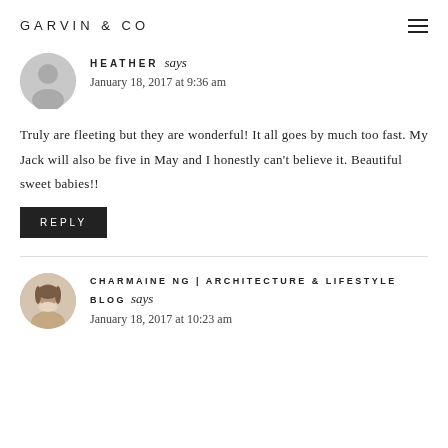GARVIN & CO
HEATHER says
January 18, 2017 at 9:36 am
Truly are fleeting but they are wonderful! It all goes by much too fast. My Jack will also be five in May and I honestly can't believe it. Beautiful sweet babies!!
REPLY
CHARMAINE NG | ARCHITECTURE & LIFESTYLE BLOG says
January 18, 2017 at 10:23 am